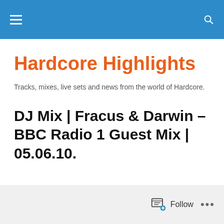Hardcore Highlights — site header bar with hamburger menu and search icon
Hardcore Highlights
Tracks, mixes, live sets and news from the world of Hardcore.
DJ Mix | Fracus & Darwin – BBC Radio 1 Guest Mix | 05.06.10.
Follow ...